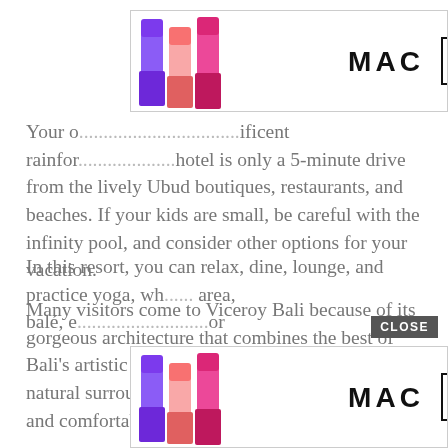[Figure (photo): MAC cosmetics advertisement banner at top showing lipsticks in purple, pink, and red colors with MAC logo and SHOP NOW button]
Your oasis in infinite and beautiful magnificent rainforest hotel is only a 5-minute drive from the lively Ubud boutiques, restaurants, and beaches. If your kids are small, be careful with the infinity pool, and consider other options for your vacation.
Many visitors come to Viceroy Bali because of its gorgeous architecture that combines the best of Bali's artistic traditions with the resort's breathtaking natural surroundings to create a modern, opulent, and comfortable environment for its guests.
In this resort, you can relax, dine, lounge, and practice yoga, while each villa has its own covered outdoor area, balé, either or
[Figure (photo): MAC cosmetics advertisement banner at bottom showing lipsticks in purple, pink, and red colors with MAC logo and SHOP NOW button, with CLOSE button overlay]